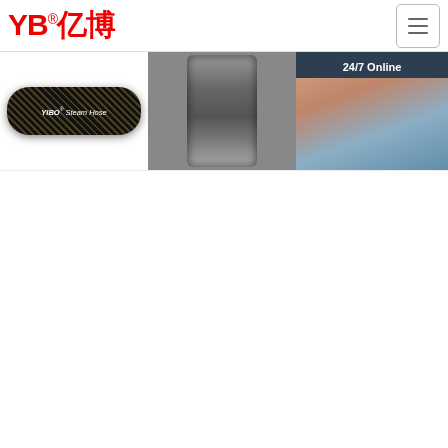[Figure (logo): YB 亿博 logo in red with registered trademark symbol]
[Figure (photo): YIBO Steam Hose product image - black rubber hose with golden braid]
[Figure (photo): Hydraulic fitting / hose assembly metal coupling close-up]
[Figure (photo): 24/7 Online customer service chat - woman with headset smiling]
Hydraulic Hose, Hydraulic Fittings, Hydraulic Accessories ...
Hydraulic And Automation Warehouse - Pneumatics
Se... Ce... RY...
2021-10-15u2002·u2002Hypress is a world class manufacturer of
Watch how our HAW Hose Assembly experts assemble hydraulic hose in this step-by-step tutorial. Learn
Hydraulic Hose Repair Workshop. RYCO 24•7 Service Centres offer over-the-counter sales and a workshop repairs service. Our Service Centres...
Click here for free chat !
QUOTATION